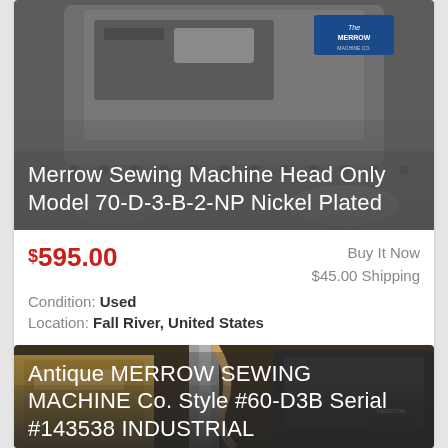[Figure (photo): Merrow sewing machine head, close-up industrial photo with Merrow Machine Co. label visible, dark metallic machine]
Merrow Sewing Machine Head Only Model 70-D-3-B-2-NP Nickel Plated
$595.00  Buy It Now  $45.00 Shipping  Condition: Used  Location: Fall River, United States
[Figure (photo): Antique Merrow sewing machine, industrial workshop setting with brown/orange machinery visible]
Antique MERROW SEWING MACHINE Co. Style #60-D3B Serial #143538 INDUSTRIAL